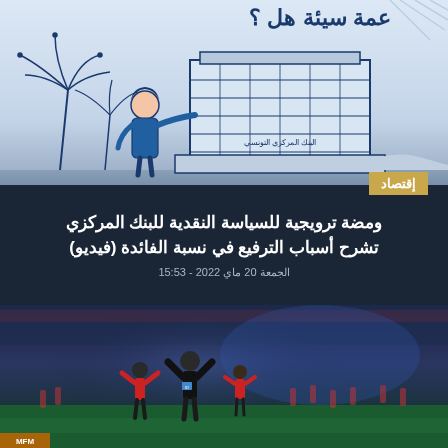[Figure (illustration): Illustrated promotional image showing a cartoon woman pointing at a building labeled 'البنك المركزي التونسي' (Tunisian Central Bank), drawn in blue and white sketch style]
إقتصاد
ومضة ترويجية للسياسة النقدية للبنك المركزي تشرح أسباب الترفيع في نسبة الفائدة (فيديو)
الجمعة 20 ماي 2022 - 15:53
[Figure (screenshot): Screenshot of a football/soccer match broadcast showing EST vs CA teams, scoreboard showing 10:13, players celebrating on field, aired on Al-Wataniya 1 channel (مباشر)]